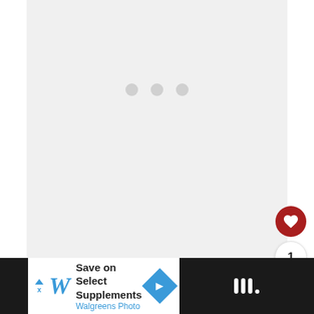[Figure (screenshot): Loading screen with three gray dots centered on a light gray background, with white side strips. A red circular heart (favorite) button, a white circular count button showing '1', and a white circular share button are overlaid on the right side.]
[Figure (infographic): Bottom advertisement bar: dark strip on left, Walgreens ad in center with blue-italic W logo, text 'Save on Select Supplements' and 'Walgreens Photo', blue diamond arrow icon, dark strip on right with white bar/dot icon.]